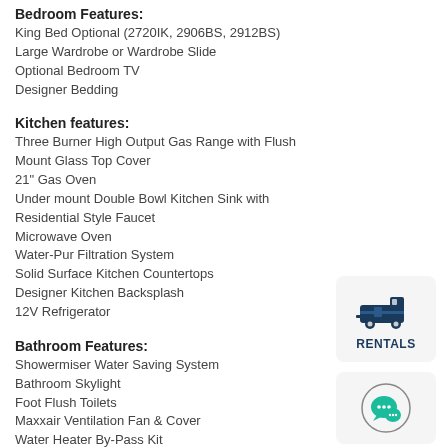Bedroom Features:
King Bed Optional (2720IK, 2906BS, 2912BS)
Large Wardrobe or Wardrobe Slide
Optional Bedroom TV
Designer Bedding
Kitchen features:
Three Burner High Output Gas Range with Flush Mount Glass Top Cover
21" Gas Oven
Under mount Double Bowl Kitchen Sink with Residential Style Faucet
Microwave Oven
Water-Pur Filtration System
Solid Surface Kitchen Countertops
Designer Kitchen Backsplash
12V Refrigerator
Bathroom Features:
Showermiser Water Saving System
Bathroom Skylight
Foot Flush Toilets
Maxxair Ventilation Fan & Cover
Water Heater By-Pass Kit
Options:
15,000 BTU A/C
[Figure (logo): Rentals icon with RV/camper graphic and RENTALS label in dark navy blue on light gray rounded rectangle background]
[Figure (logo): Chat/speech bubble icon in teal/green on light gray rounded rectangle background]